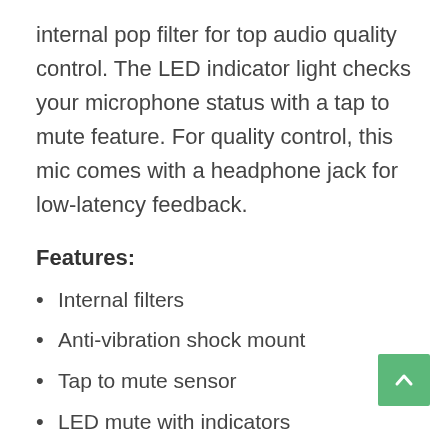internal pop filter for top audio quality control. The LED indicator light checks your microphone status with a tap to mute feature. For quality control, this mic comes with a headphone jack for low-latency feedback.
Features:
Internal filters
Anti-vibration shock mount
Tap to mute sensor
LED mute with indicators